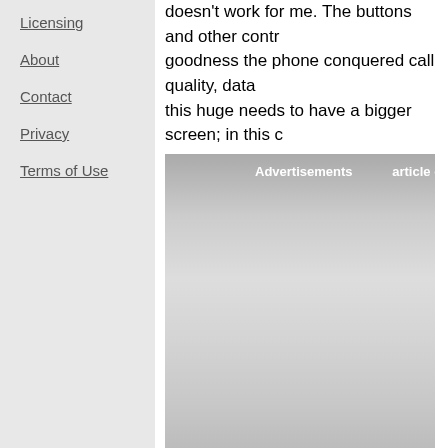Licensing
About
Contact
Privacy
Terms of Use
doesn't work for me. The buttons and other contr... goodness the phone conquered call quality, data... this huge needs to have a bigger screen; in this c...
[Figure (other): Advertisement placeholder box with label 'Advertisements' and 'article co' text]
I like that Red stuck with a normal version of And... the phone despite the older processor. The came... well enough. More importantly, the One delivers s... camera.
I can't recommend the Red Hydrogen One to any...